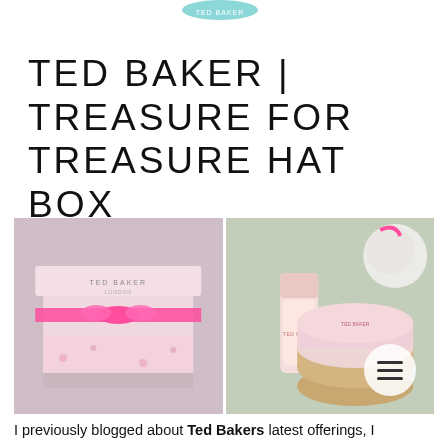[Figure (logo): Ted Baker logo (teal/turquoise partial logo at top center)]
TED BAKER | TREASURE FOR TREASURE HAT BOX
[Figure (photo): Two side-by-side photos: left photo shows a pink Ted Baker London hat box tied with a hot pink ribbon on a floral fabric background; right photo shows Ted Baker beauty products including a lotion tube and a round tin/pot with gold lid, plus a fluffy bath puff with pink ribbon, on a floral fabric background. A circular menu button (hamburger icon) overlays the bottom-right of the right photo.]
I previously blogged about Ted Bakers latest offerings, I